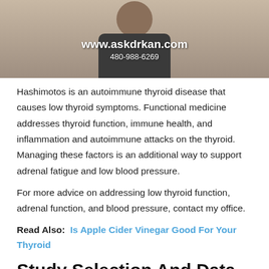[Figure (screenshot): Video thumbnail showing a person with text overlay: www.askdrkan.com and phone number 480-988-6269]
Hashimotos is an autoimmune thyroid disease that causes low thyroid symptoms. Functional medicine addresses thyroid function, immune health, and inflammation and autoimmune attacks on the thyroid. Managing these factors is an additional way to support adrenal fatigue and low blood pressure.
For more advice on addressing low thyroid function, adrenal function, and blood pressure, contact my office.
Read Also: Is Apple Cider Vinegar Good For Your Thyroid
Study Selection And Data Extraction